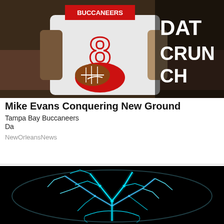[Figure (photo): Football player wearing Tampa Bay Buccaneers jersey holding a football, with 'DATA CRUNCH' text overlay in white bold letters on the right side]
Mike Evans Conquering New Ground
Tampa Bay Buccaneers
Da
NewOrleansNews
[Figure (illustration): Glowing neon brain illustration on black background with teal and blue electric/fractal neural network patterns]